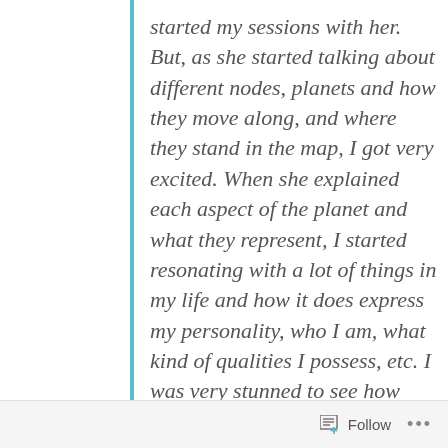started my sessions with her. But, as she started talking about different nodes, planets and how they move along, and where they stand in the map, I got very excited. When she explained each aspect of the planet and what they represent, I started resonating with a lot of things in my life and how it does express my personality, who I am, what kind of qualities I possess, etc. I was very stunned to see how much astrology and the planets are closely related to our life and what
Follow ...